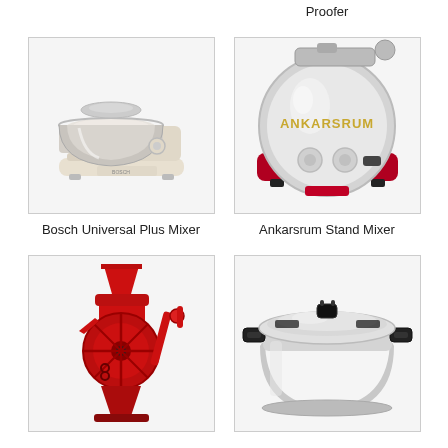Proofer
[Figure (photo): Bosch Universal Plus Mixer - white stand mixer with stainless steel bowl]
Bosch Universal Plus Mixer
[Figure (photo): Ankarsrum Stand Mixer - red and chrome stand mixer with ANKARSRUM branding]
Ankarsrum Stand Mixer
[Figure (photo): Red manual grain mill with hand crank]
[Figure (photo): Large stainless steel pressure cooker with black handles and lid]